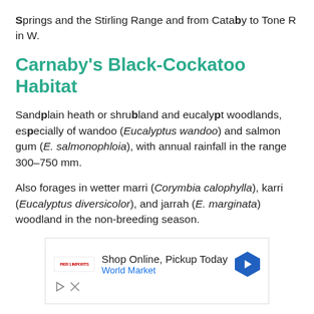Springs and the Stirling Range and from Cataby to Tone R in W.
Carnaby's Black-Cockatoo Habitat
Sandplain heath or shrubland and eucalypt woodlands, especially of wandoo (Eucalyptus wandoo) and salmon gum (E. salmonophloia), with annual rainfall in the range 300–750 mm.
Also forages in wetter marri (Corymbia calophylla), karri (Eucalyptus diversicolor), and jarrah (E. marginata) woodland in the non-breeding season.
[Figure (other): Advertisement banner: Shop Online, Pickup Today – World Market, with a blue navigation arrow icon and ad control icons (play, close).]